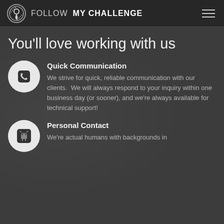FOLLOW MY CHALLENGE
You'll love working with us
Quick Communication
We strive for quick, reliable communication with our clients.  We will always respond to your inquiry within one business day (or sooner), and we're always available for technical support!
Personal Contact
We're actual humans with backgrounds in